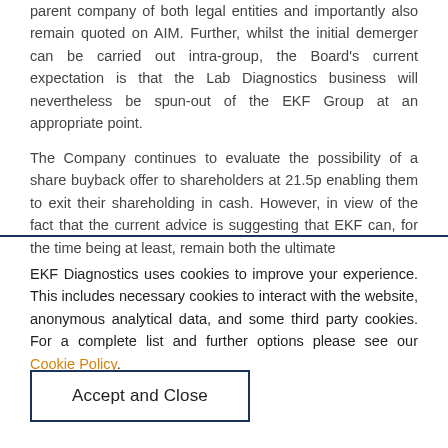parent company of both legal entities and importantly also remain quoted on AIM. Further, whilst the initial demerger can be carried out intra-group, the Board's current expectation is that the Lab Diagnostics business will nevertheless be spun-out of the EKF Group at an appropriate point.

The Company continues to evaluate the possibility of a share buyback offer to shareholders at 21.5p enabling them to exit their shareholding in cash. However, in view of the fact that the current advice is suggesting that EKF can, for the time being at least, remain both the ultimate
EKF Diagnostics uses cookies to improve your experience. This includes necessary cookies to interact with the website, anonymous analytical data, and some third party cookies. For a complete list and further options please see our Cookie Policy.
Accept and Close